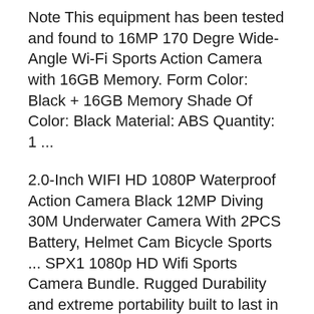Note This equipment has been tested and found to 16MP 170 Degre Wide-Angle Wi-Fi Sports Action Camera with 16GB Memory. Form Color: Black + 16GB Memory Shade Of Color: Black Material: ABS Quantity: 1 ...
2.0-Inch WIFI HD 1080P Waterproof Action Camera Black 12MP Diving 30M Underwater Camera With 2PCS Battery, Helmet Cam Bicycle Sports ... SPX1 1080p HD Wifi Sports Camera Bundle. Rugged Durability and extreme portability built to last in any environment Battery/Charger/Manual/Microfiber Cleaning